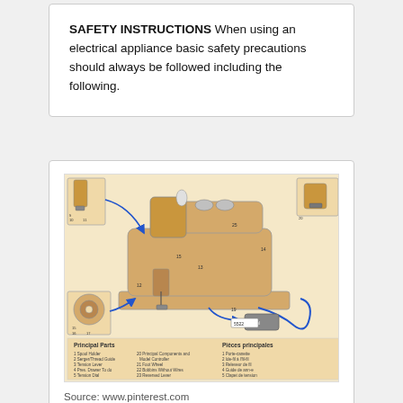SAFETY INSTRUCTIONS When using an electrical appliance basic safety precautions should always be followed including the following.
[Figure (illustration): Diagram of a sewing machine (model 5522) showing principal parts labeled with numbers, with inset detail views of the needle/foot area, bobbin, and power cord/foot pedal. Below the diagram is a bilingual parts list in English ('Principal Parts') and French ('Pièces principales').]
Source: www.pinterest.com